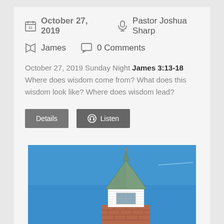October 27, 2019   Pastor Joshua Sharp
James   0 Comments
October 27, 2019 Sunday Night James 3:13-18 Where does wisdom come from? What does this wisdom look like? Where does wisdom lead?
[Figure (photo): Photo of a church steeple/cupola with white siding and green roof against a blue sky, on top of a red brick base.]